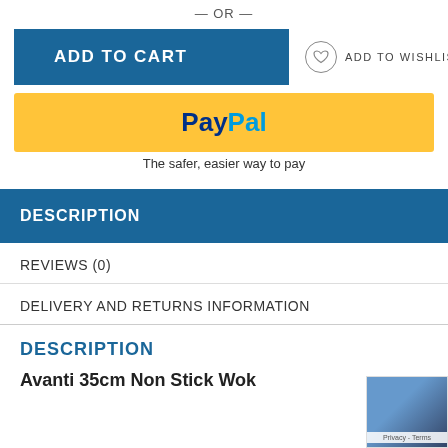— OR —
[Figure (screenshot): Add to Cart button (blue) and Add to Wishlist link with heart icon]
[Figure (screenshot): PayPal checkout button (yellow)]
The safer, easier way to pay
DESCRIPTION
REVIEWS (0)
DELIVERY AND RETURNS INFORMATION
DESCRIPTION
Avanti 35cm Non Stick Wok